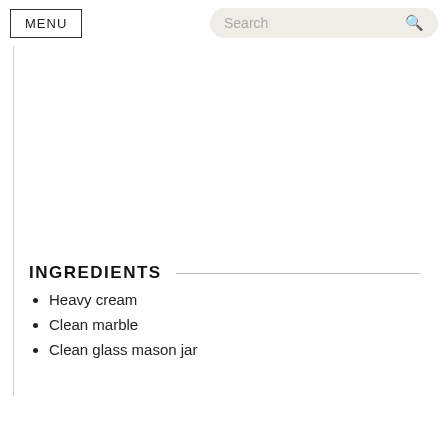MENU | Search
[Figure (photo): Large image placeholder area (white/blank), likely a food or recipe photo]
INGREDIENTS
Heavy cream
Clean marble
Clean glass mason jar